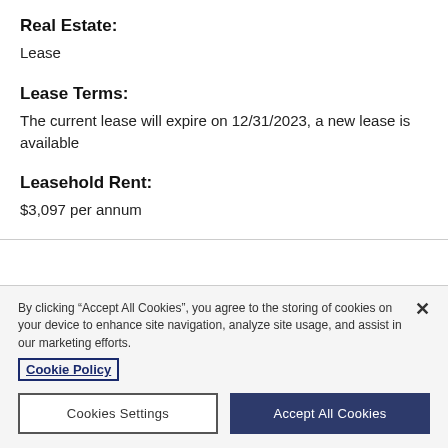Real Estate:
Lease
Lease Terms:
The current lease will expire on 12/31/2023, a new lease is available
Leasehold Rent:
$3,097 per annum
By clicking “Accept All Cookies”, you agree to the storing of cookies on your device to enhance site navigation, analyze site usage, and assist in our marketing efforts.
Cookie Policy
Cookies Settings
Accept All Cookies